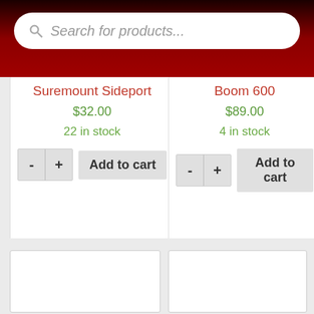Search for products...
Suremount Sideport
$32.00
22 in stock
Boom 600
$89.00
4 in stock
[Figure (screenshot): Two empty product card placeholders at the bottom of a product listing page]